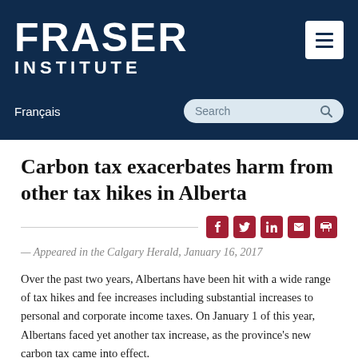FRASER INSTITUTE
Carbon tax exacerbates harm from other tax hikes in Alberta
— Appeared in the Calgary Herald, January 16, 2017
Over the past two years, Albertans have been hit with a wide range of tax hikes and fee increases including substantial increases to personal and corporate income taxes. On January 1 of this year, Albertans faced yet another tax increase, as the province's new carbon tax came into effect.